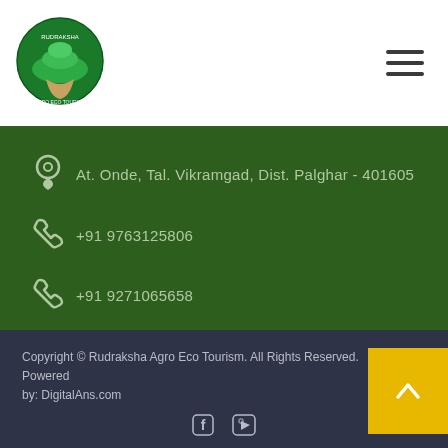[Figure (logo): Rudraksha Agro Eco Tourism logo — hand holding a green island/tree, circular badge]
At. Onde, Tal. Vikramgad, Dist. Palghar - 401605
+91 9763125806
+91 9271065658
+91 9637747466
rudrakshaagroecotourism@gmail.com
Copyright © Rudraksha Agro Eco Tourism. All Rights Reserved. Powered by: DigitalAns.com